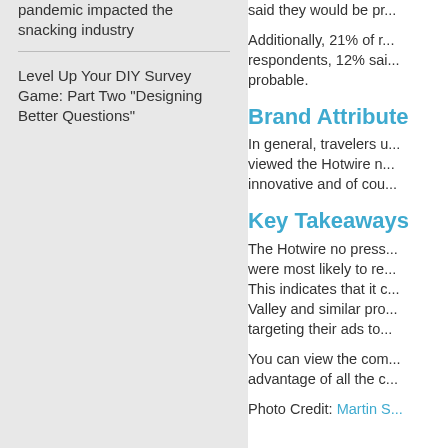pandemic impacted the snacking industry
Level Up Your DIY Survey Game: Part Two "Designing Better Questions"
said they would be pr...
Additionally, 21% of r... respondents, 12% sai... probable.
Brand Attribute
In general, travelers u... viewed the Hotwire n... innovative and of cou...
Key Takeaways
The Hotwire no press... were most likely to re... This indicates that it c... Valley and similar pro... targeting their ads to...
You can view the com... advantage of all the c...
Photo Credit: Martin S...